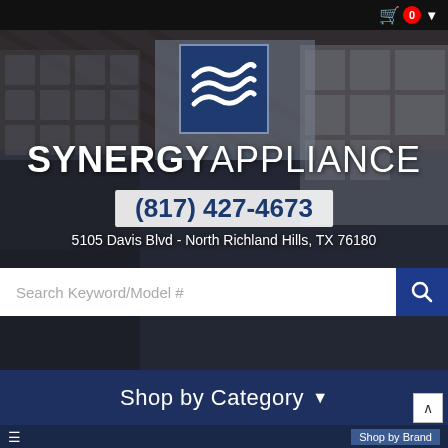[Figure (screenshot): Synergy Appliance website homepage showing kitchen background with logo, brand name, phone number, address, search bar, category navigation, and shop by brand button]
SYNERGY APPLIANCE
(817) 427-4673
5105 Davis Blvd - North Richland Hills, TX 76180
Search Keyword/Model #
Shop by Category
Shop by Brand